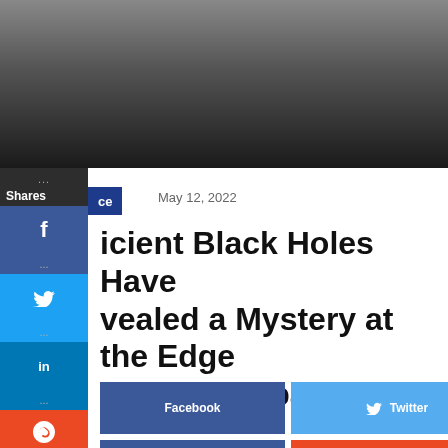[Figure (photo): Dark blurred hero image background, gradient from gray to dark]
May 12, 2022
Ancient Black Holes Have Revealed a Mystery at the Edge of Time and Space
Facebook
Twitter
LinkedIn
StumbleUpon
Pinterest